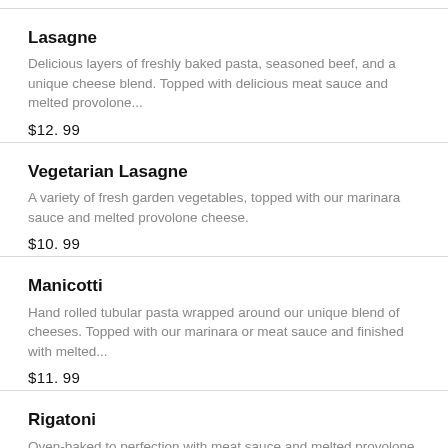Lasagne
Delicious layers of freshly baked pasta, seasoned beef, and a unique cheese blend. Topped with delicious meat sauce and melted provolone...
$12. 99
Vegetarian Lasagne
A variety of fresh garden vegetables, topped with our marinara sauce and melted provolone cheese.
$10. 99
Manicotti
Hand rolled tubular pasta wrapped around our unique blend of cheeses. Topped with our marinara or meat sauce and finished with melted...
$11. 99
Rigatoni
Oven-baked to perfection with meat sauce and melted provolone